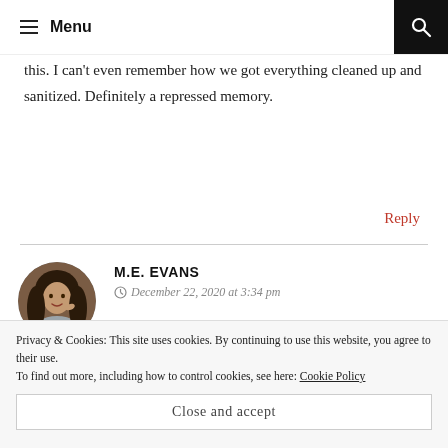Menu
this. I can't even remember how we got everything cleaned up and sanitized. Definitely a repressed memory.
Reply
M.E. EVANS
December 22, 2020 at 3:34 pm
[Figure (photo): Circular avatar photo of a woman with long dark hair]
Oh my GOD! That sounds HORRIBLE. Yes, put that back in the repressed memories compartment lol. I
Privacy & Cookies: This site uses cookies. By continuing to use this website, you agree to their use.
To find out more, including how to control cookies, see here: Cookie Policy
Close and accept